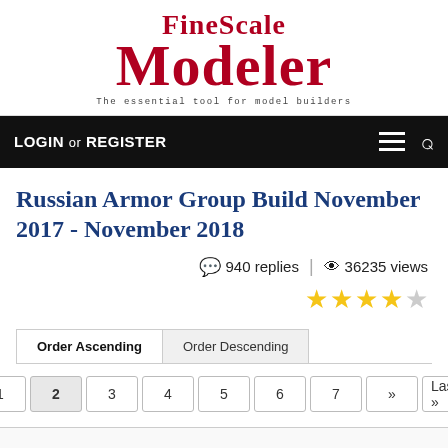[Figure (logo): FineScale Modeler logo with tagline 'The essential tool for model builders']
LOGIN or REGISTER
Russian Armor Group Build November 2017 - November 2018
940 replies | 36235 views
4 out of 5 stars rating
Order Ascending | Order Descending
Page navigation: 1 2 3 4 5 6 7 » Last »